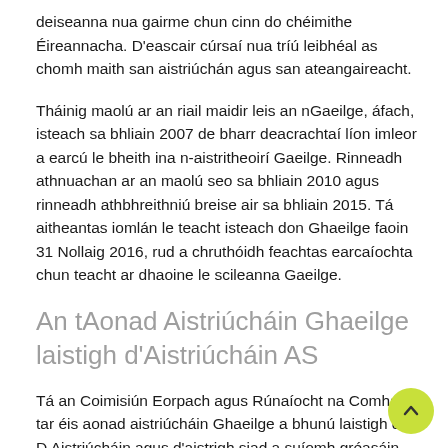deiseanna nua gairme chun cinn do chéimithe Éireannacha. D'eascair cúrsaí nua tríú leibhéal as chomh maith san aistriúchán agus san ateangaireacht.
Tháinig maolú ar an riail maidir leis an nGaeilge, áfach, isteach sa bhliain 2007 de bharr deacrachtaí líon imleor a earcú le bheith ina n-aistritheoirí Gaeilge. Rinneadh athnuachan ar an maolú seo sa bhliain 2010 agus rinneadh athbhreithniú breise air sa bhliain 2015. Tá aitheantas iomlán le teacht isteach don Ghaeilge faoin 31 Nollaig 2016, rud a chruthóidh feachtas earcaíochta chun teacht ar dhaoine le scileanna Gaeilge.
An tAonad Aistriúcháin Ghaeilge laistigh d'Aistriúcháin AS
Tá an Coimisiún Eorpach agus Rúnaíocht na Comhairle tar éis aonad aistriúcháin Ghaeilge a bhunú laistigh de D Aistriúcháin agus d'aistrigh siad a suíomh gréasáin Europa ar Gaeil...